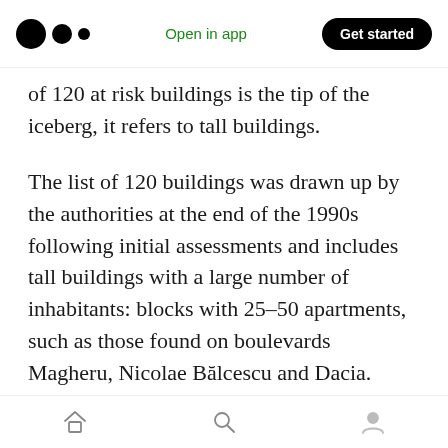Open in app | Get started
of 120 at risk buildings is the tip of the iceberg, it refers to tall buildings.
The list of 120 buildings was drawn up by the authorities at the end of the 1990s following initial assessments and includes tall buildings with a large number of inhabitants: blocks with 25–50 apartments, such as those found on boulevards Magheru, Nicolae Bălcescu and Dacia. Buildings in which Văcăreanu would not set foot “even to visit somebody”. The list partly overlaps with the current list of risk level one buildings, to which were added shorter buildings
Home | Search | Profile